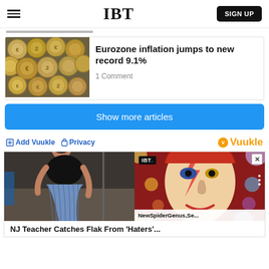IBT  SIGN UP
[Figure (photo): Pile of Euro coins photographed from above]
Eurozone inflation jumps to new record 9.1%
1 Comment
Show more articles
Add Vuukle  Privacy  Vuukle
[Figure (photo): Split widget showing a woman in blue skirt on left and David Bowie mosaic on right with IBT video overlay and title NewSpiderGenus,Se...]
NJ Teacher Catches Flak From 'Haters'...